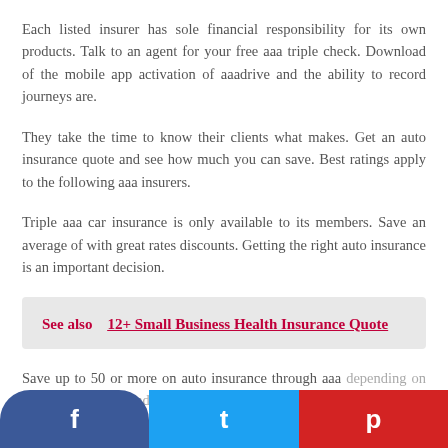Each listed insurer has sole financial responsibility for its own products. Talk to an agent for your free aaa triple check. Download of the mobile app activation of aaadrive and the ability to record journeys are.
They take the time to know their clients what makes. Get an auto insurance quote and see how much you can save. Best ratings apply to the following aaa insurers.
Triple aaa car insurance is only available to its members. Save an average of with great rates discounts. Getting the right auto insurance is an important decision.
See also   12+ Small Business Health Insurance Quote
Save up to 50 or more on auto insurance through aaa depending on your zip selection and bundling. Trust...